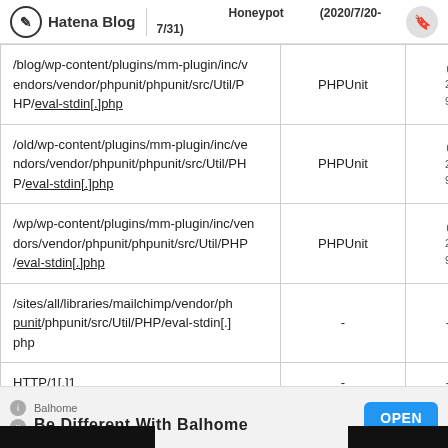Hatena Blog | honeypot (2020/7/20-7/31)
| path | tool | count |
| --- | --- | --- |
| /blog/wp-content/plugins/mm-plugin/inc/vendors/vendor/phpunit/phpunit/src/Util/PHP/eval-stdin[.]php | PHPUnit |  |
| /old/wp-content/plugins/mm-plugin/inc/vendors/vendor/phpunit/phpunit/src/Util/PHP/eval-stdin[.]php | PHPUnit |  |
| /wp/wp-content/plugins/mm-plugin/inc/vendors/vendor/phpunit/phpunit/src/Util/PHP/eval-stdin[.]php | PHPUnit |  |
| /sites/all/libraries/mailchimp/vendor/phpunit/phpunit/src/Util/PHP/eval-stdin[.]php | - | - |
| HTTP/1[.]1 | - | - |